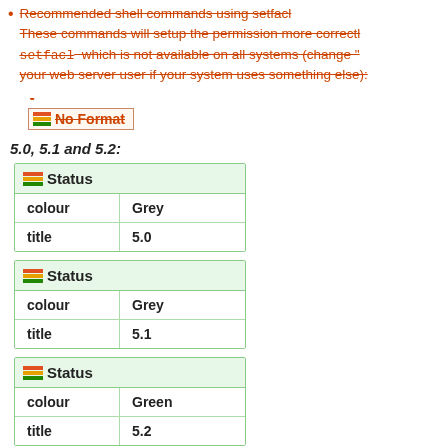Recommended shell commands using setfacl These commands will setup the permission more correctly setfacl which is not available on all systems (change "" your web server user if your system uses something else):
- (dash line, strikethrough)
No Format (strikethrough)
5.0, 5.1 and 5.2:
|  |  |
| --- | --- |
| colour | Grey |
| title | 5.0 |
|  |  |
| --- | --- |
| colour | Grey |
| title | 5.1 |
|  |  |
| --- | --- |
| colour | Green |
| title | 5.2 |